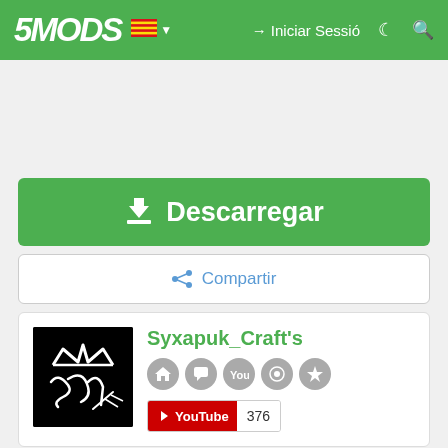5MODS — Iniciar Sessió
[Figure (screenshot): Large gray ad/content placeholder area below navbar]
Descarregar
Compartir
[Figure (logo): Syxapuk_Craft's author avatar: black background with white graffiti crown and letters]
Syxapuk_Craft's
YouTube 376